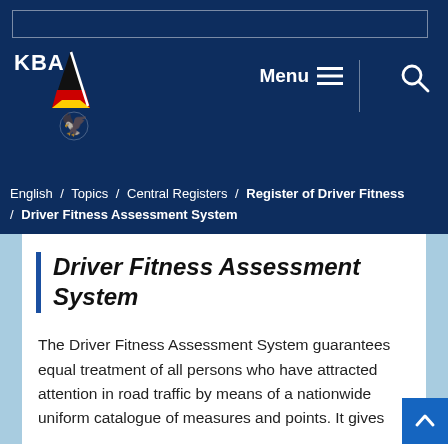[Figure (logo): KBA logo with triangle in German flag colors (black, red, yellow) and federal eagle emblem, on dark navy background]
Menu  / Search
English / Topics / Central Registers / Register of Driver Fitness / Driver Fitness Assessment System
Driver Fitness Assessment System
The Driver Fitness Assessment System guarantees equal treatment of all persons who have attracted attention in road traffic by means of a nationwide uniform catalogue of measures and points. It gives